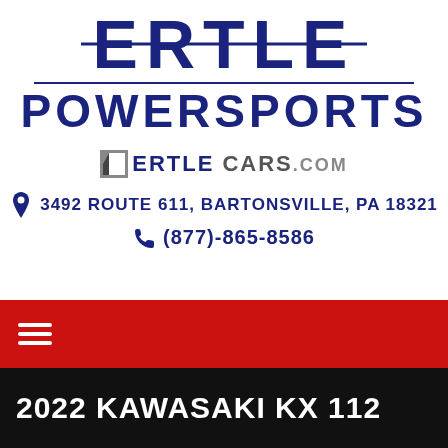[Figure (logo): Ertle Powersports logo with bold navy blue ERTLE text crossed by a horizontal line, underlined, with POWERSPORTS below]
ERTLECARS.COM
3492 ROUTE 611, BARTONSVILLE, PA 18321
(877)-865-8586
[Figure (other): Red navigation bar with hamburger menu icon]
2022 KAWASAKI KX 112